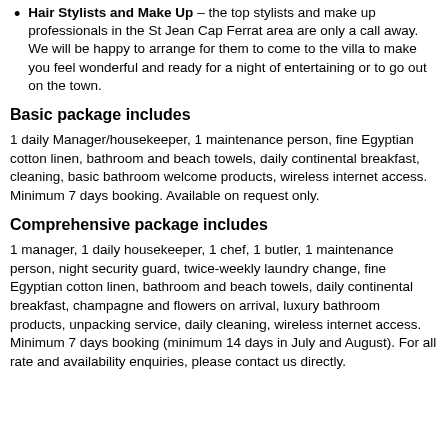Hair Stylists and Make Up – the top stylists and make up professionals in the St Jean Cap Ferrat area are only a call away. We will be happy to arrange for them to come to the villa to make you feel wonderful and ready for a night of entertaining or to go out on the town.
Basic package includes
1 daily Manager/housekeeper, 1 maintenance person, fine Egyptian cotton linen, bathroom and beach towels, daily continental breakfast, cleaning, basic bathroom welcome products, wireless internet access. Minimum 7 days booking. Available on request only.
Comprehensive package includes
1 manager, 1 daily housekeeper, 1 chef, 1 butler, 1 maintenance person, night security guard, twice-weekly laundry change, fine Egyptian cotton linen, bathroom and beach towels, daily continental breakfast, champagne and flowers on arrival, luxury bathroom products, unpacking service, daily cleaning, wireless internet access. Minimum 7 days booking (minimum 14 days in July and August). For all rate and availability enquiries, please contact us directly.